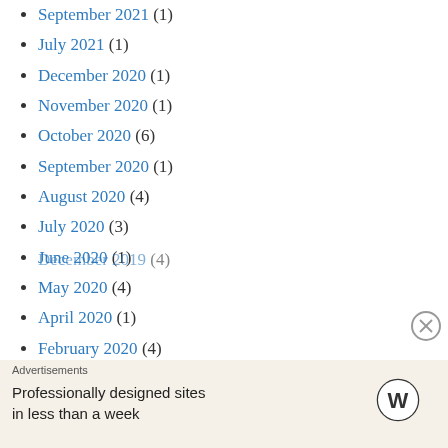September 2021 (1)
July 2021 (1)
December 2020 (1)
November 2020 (1)
October 2020 (6)
September 2020 (1)
August 2020 (4)
July 2020 (3)
June 2020 (1)
May 2020 (4)
April 2020 (1)
February 2020 (4)
January 2020 (1)
December 2019 (4)
Advertisements
Professionally designed sites in less than a week